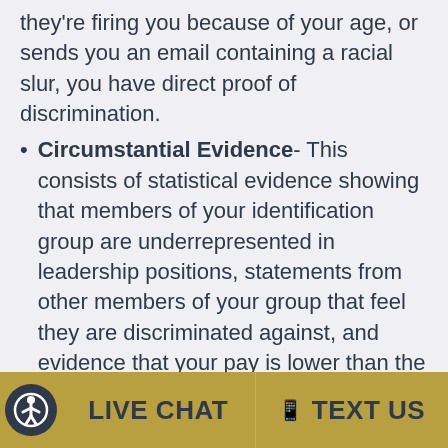they're firing you because of your age, or sends you an email containing a racial slur, you have direct proof of discrimination.
Circumstantial Evidence- This consists of statistical evidence showing that members of your identification group are underrepresented in leadership positions, statements from other members of your group that feel they are discriminated against, and evidence that your pay is lower than the market rate for individuals of your skill level.
LIVE CHAT | TEXT US